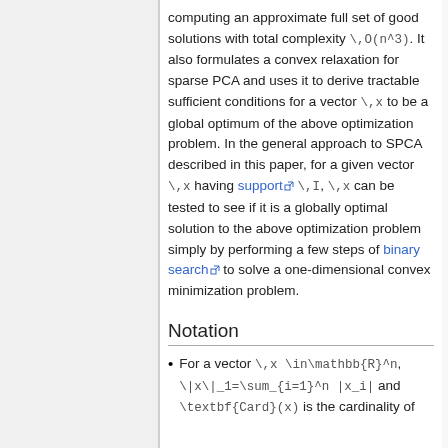computing an approximate full set of good solutions with total complexity \,O(n^3). It also formulates a convex relaxation for sparse PCA and uses it to derive tractable sufficient conditions for a vector \,x to be a global optimum of the above optimization problem. In the general approach to SPCA described in this paper, for a given vector \,x having support \,I, \,x can be tested to see if it is a globally optimal solution to the above optimization problem simply by performing a few steps of binary search to solve a one-dimensional convex minimization problem.
Notation
For a vector \,x \in\mathbb{R}^n, \|x\|_1=\sum_{i=1}^n |x_i| and \textbf{Card}(x) is the cardinality of